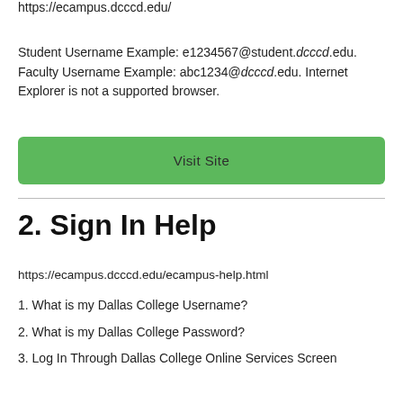https://ecampus.dcccd.edu/
Student Username Example: e1234567@student.dcccd.edu. Faculty Username Example: abc1234@dcccd.edu. Internet Explorer is not a supported browser.
Visit Site
2. Sign In Help
https://ecampus.dcccd.edu/ecampus-help.html
1. What is my Dallas College Username?
2. What is my Dallas College Password?
3. Log In Through Dallas College Online Services Screen